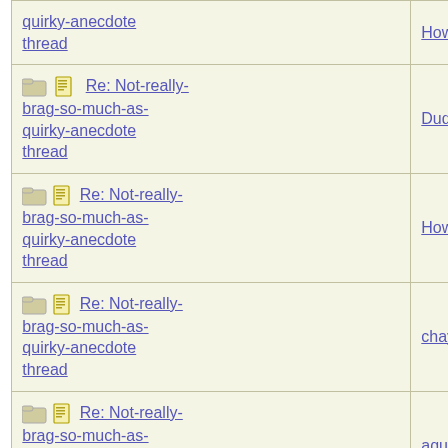| Subject | Author |
| --- | --- |
| Re: Not-really-brag-so-much-as-quirky-anecdote thread | HowlerKa |
| Re: Not-really-brag-so-much-as-quirky-anecdote thread | Dude |
| Re: Not-really-brag-so-much-as-quirky-anecdote thread | HowlerKa |
| Re: Not-really-brag-so-much-as-quirky-anecdote thread | chay |
| Re: Not-really-brag-so-much-as-quirky-anecdote thread | aquinas |
| Re: Not-really-brag-so-much-as-quirky-anecdote thread | 1111 |
| Re: Not-really-brag-so-much-as-quirky-anecdote thread | KJP |